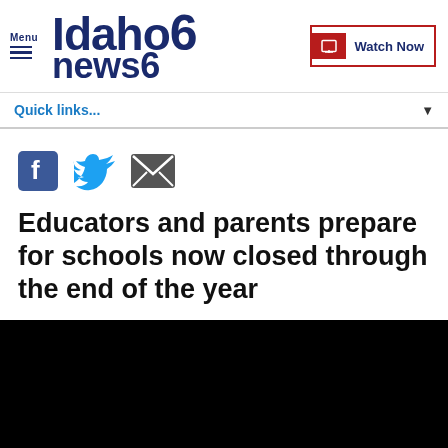Idaho News 6 — Menu | Watch Now
Quick links...
[Figure (other): Social sharing icons: Facebook, Twitter, Email]
Educators and parents prepare for schools now closed through the end of the year
[Figure (other): Black video player placeholder]